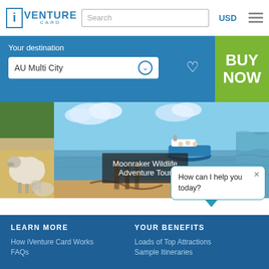[Figure (screenshot): iVenture Card website header with logo, search box, USD currency selector, and hamburger menu]
[Figure (screenshot): Blue banner with 'Your destination' label, AU Multi City dropdown selector, heart icon, and green BUY NOW button]
[Figure (photo): Three side-by-side images: sheep on left, Moonraker Wildlife Adventure Tour boat on a coastal scene in center, blue water on right]
Moonraker Wildlife Adventure Tour
[Figure (screenshot): Chat bubble popup asking 'How can I help you today?' with an X close button]
LEARN MORE
YOUR BENEFITS
How iVenture Card Works
FAQs
Loads of Top Attractions
Sample Itineraries